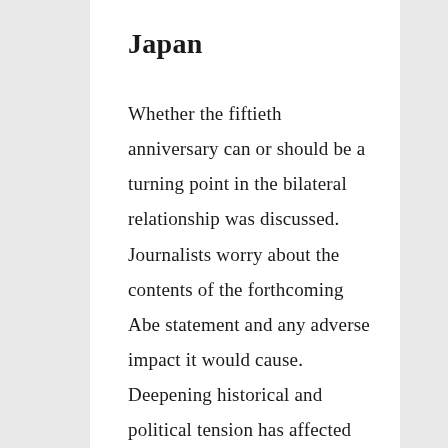Japan
Whether the fiftieth anniversary can or should be a turning point in the bilateral relationship was discussed. Journalists worry about the contents of the forthcoming Abe statement and any adverse impact it would cause. Deepening historical and political tension has affected the